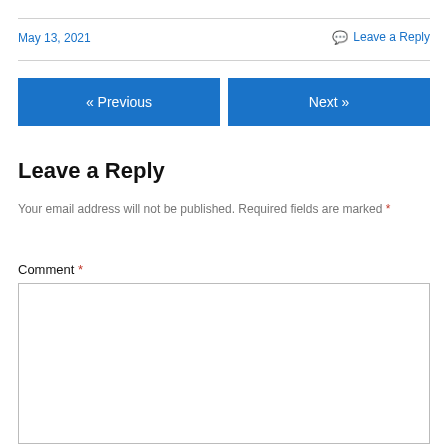May 13, 2021
💬 Leave a Reply
« Previous
Next »
Leave a Reply
Your email address will not be published. Required fields are marked *
Comment *